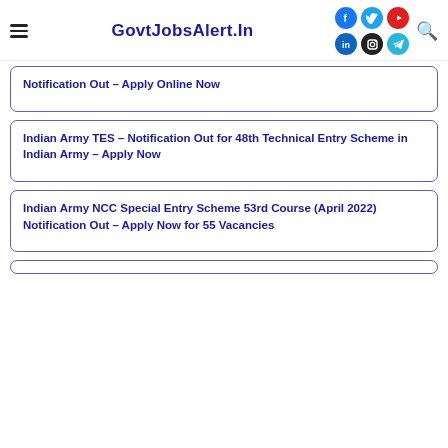GovtJobsAlert.In
Notification Out – Apply Online Now
Indian Army TES – Notification Out for 48th Technical Entry Scheme in Indian Army – Apply Now
Indian Army NCC Special Entry Scheme 53rd Course (April 2022) Notification Out – Apply Now for 55 Vacancies